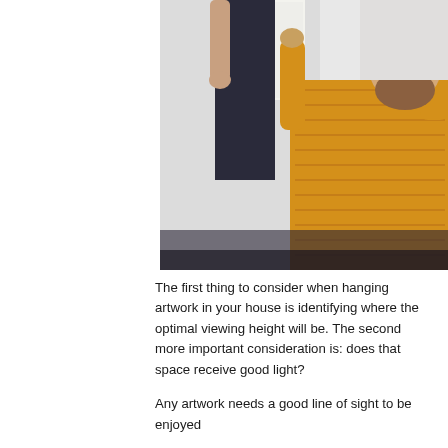[Figure (photo): Two people (a man with a beard in a mustard yellow sweater and another person in a dark top) hanging a framed artwork on a light-colored wall. The man looks up at the painting while reaching up to position it.]
The first thing to consider when hanging artwork in your house is identifying where the optimal viewing height will be. The second more important consideration is: does that space receive good light?
Any artwork needs a good line of sight to be enjoyed